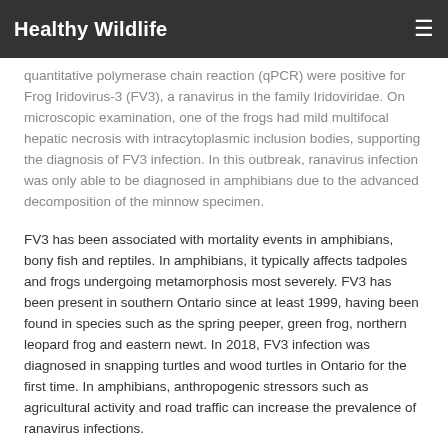Healthy Wildlife
quantitative polymerase chain reaction (qPCR) were positive for Frog Iridovirus-3 (FV3), a ranavirus in the family Iridoviridae. On microscopic examination, one of the frogs had mild multifocal hepatic necrosis with intracytoplasmic inclusion bodies, supporting the diagnosis of FV3 infection. In this outbreak, ranavirus infection was only able to be diagnosed in amphibians due to the advanced decomposition of the minnow specimen.
FV3 has been associated with mortality events in amphibians, bony fish and reptiles. In amphibians, it typically affects tadpoles and frogs undergoing metamorphosis most severely. FV3 has been present in southern Ontario since at least 1999, having been found in species such as the spring peeper, green frog, northern leopard frog and eastern newt. In 2018, FV3 infection was diagnosed in snapping turtles and wood turtles in Ontario for the first time. In amphibians, anthropogenic stressors such as agricultural activity and road traffic can increase the prevalence of ranavirus infections.